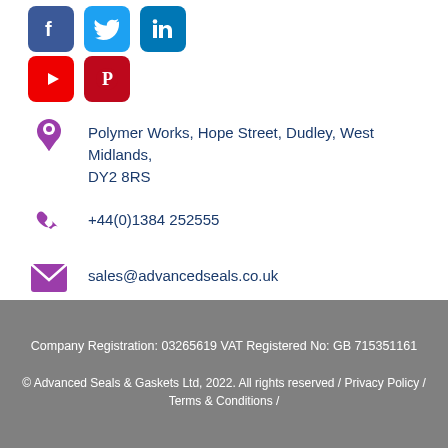[Figure (illustration): Social media icons: Facebook (blue), Twitter (light blue), LinkedIn (blue), YouTube (red), Pinterest (red)]
Polymer Works, Hope Street, Dudley, West Midlands, DY2 8RS
+44(0)1384 252555
sales@advancedseals.co.uk
Mon-Thurs: 9am – 5pm
Fri: 9am - 4:30pm
Company Registration: 03265619 VAT Registered No: GB 715351161
© Advanced Seals & Gaskets Ltd, 2022. All rights reserved / Privacy Policy / Terms & Conditions /